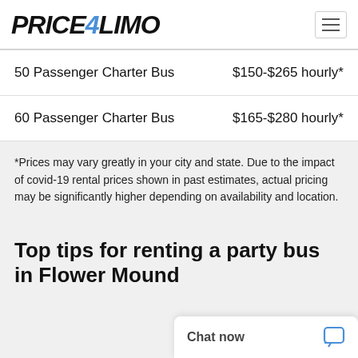PRICE4LIMO
| Vehicle | Price |
| --- | --- |
| 50 Passenger Charter Bus | $150-$265 hourly* |
| 60 Passenger Charter Bus | $165-$280 hourly* |
*Prices may vary greatly in your city and state. Due to the impact of covid-19 rental prices shown in past estimates, actual pricing may be significantly higher depending on availability and location.
Top tips for renting a party bus in Flower Mound